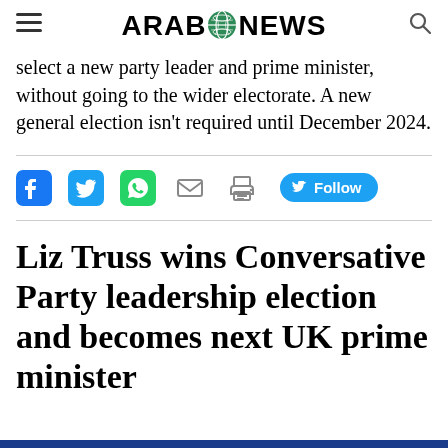ARAB NEWS
select a new party leader and prime minister, without going to the wider electorate. A new general election isn't required until December 2024.
[Figure (infographic): Social media sharing buttons: Facebook, Twitter, WhatsApp, Email, Print, and a Twitter Follow button]
Liz Truss wins Conversative Party leadership election and becomes next UK prime minister